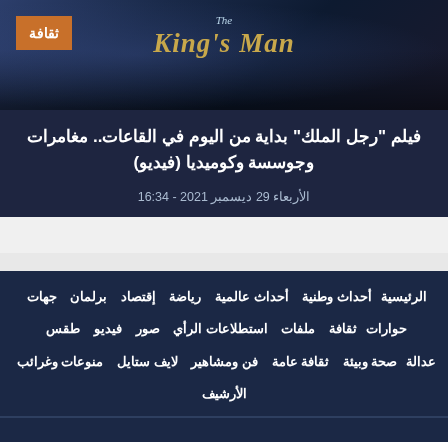[Figure (photo): The King's Man movie poster/banner with dark cinematic background and golden title text]
فيلم "رجل الملك" بداية من اليوم في القاعات.. مغامرات وجوسسة وكوميديا (فيديو)
الأربعاء 29 ديسمبر 2021 - 16:34
الرئيسية  أحداث وطنية  أحداث عالمية  رياضة  إقتصاد  برلمان  جهات  حوارات  ثقافة  ملفات  استطلاعات الرأي  صور  فيديو  طقس  عدالة  صحة وبيئة  ثقافة عامة  فن ومشاهير  لايف ستايل  منوعات وغرائب  الأرشيف